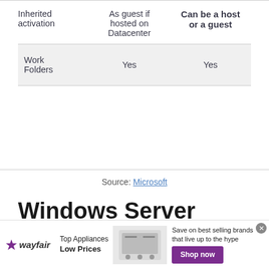| Inherited activation | As guest if hosted on Datacenter | Can be a host or a guest |
| --- | --- | --- |
| Work Folders | Yes | Yes |
Source: Microsoft
Windows Server 2022 hardware requirements
[Figure (other): Wayfair advertisement banner: Top Appliances Low Prices with appliance image and Shop now button]